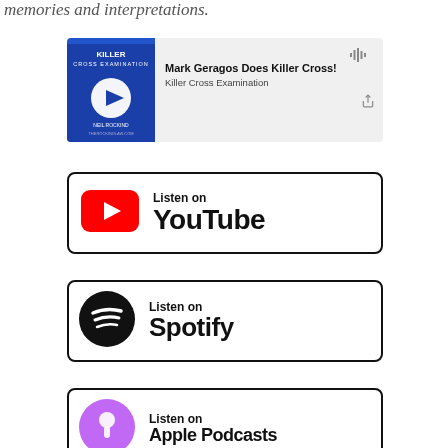memories and interpretations.
[Figure (screenshot): Podcast player card for 'Mark Geragos Does Killer Cross!' on Killer Cross Examination podcast, with blue thumbnail and purple progress bar]
[Figure (logo): Listen on YouTube button with YouTube red logo]
[Figure (logo): Listen on Spotify button with Spotify black logo]
[Figure (logo): Listen on Apple Podcasts button (partially visible at bottom)]